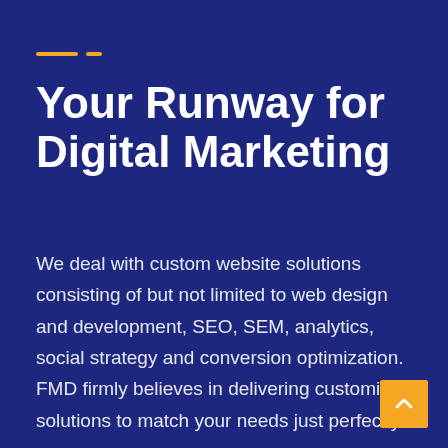[Figure (illustration): Two short horizontal yellow/orange lines used as a decorative divider element]
Your Runway for Digital Marketing
We deal with custom website solutions consisting of but not limited to web design and development, SEO, SEM, analytics, social strategy and conversion optimization. FMD firmly believes in delivering customized solutions to match your needs just perfectly.
[Figure (illustration): Yellow/orange square button with an upward-pointing chevron arrow in white, positioned at bottom-right corner]